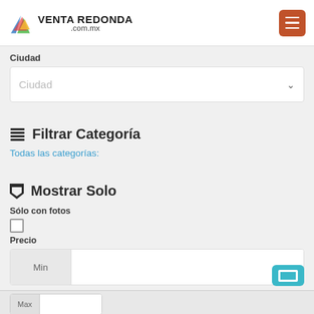VENTA REDONDA .com.mx
Ciudad
Ciudad
Filtrar Categoría
Todas las categorías:
Mostrar Solo
Sólo con fotos
Precio
Min